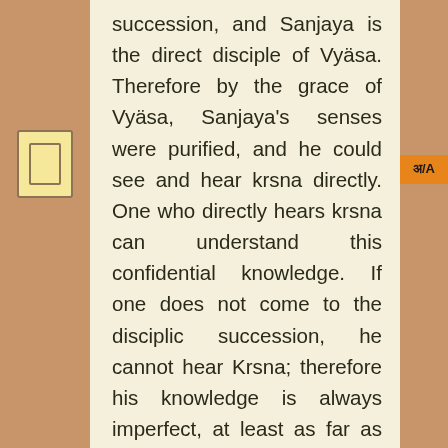succession, and Sanjaya is the direct disciple of Vyäsa. Therefore by the grace of Vyäsa, Sanjaya's senses were purified, and he could see and hear krsna directly. One who directly hears krsna can understand this confidential knowledge. If one does not come to the disciplic succession, he cannot hear Krsna; therefore his knowledge is always imperfect, at least as far as understanding Bhagavad-gita is concerned. In Bhagavad-gita, all the yoga systems—